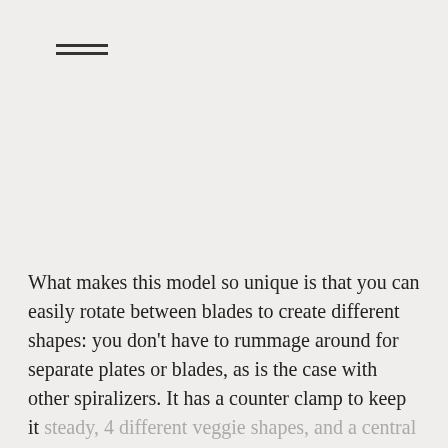≡
What makes this model so unique is that you can easily rotate between blades to create different shapes: you don't have to rummage around for separate plates or blades, as is the case with other spiralizers. It has a counter clamp to keep it steady, 4 different veggie shapes, and a central coring blade that will hang on to smaller veggies,